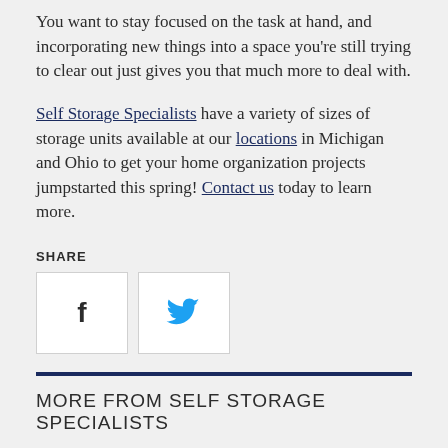You want to stay focused on the task at hand, and incorporating new things into a space you’re still trying to clear out just gives you that much more to deal with.
Self Storage Specialists have a variety of sizes of storage units available at our locations in Michigan and Ohio to get your home organization projects jumpstarted this spring! Contact us today to learn more.
SHARE
[Figure (other): Social share buttons: Facebook and Twitter icons in white square boxes]
MORE FROM SELF STORAGE SPECIALISTS
What Are the Most Useful Moving Supplies?